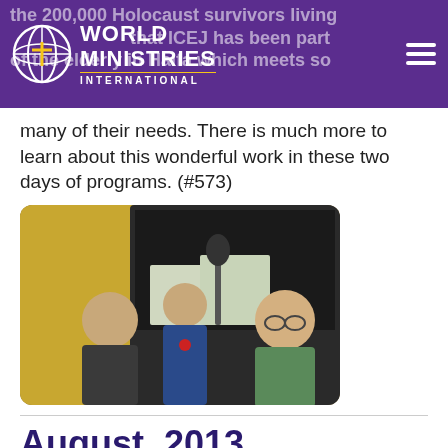World Ministries International
many of their needs. There is much more to learn about this wonderful work in these two days of programs. (#573)
[Figure (photo): Three people in a radio studio with microphones; two men and a woman posing for the camera]
August, 2013
Dr. Mike Hyodo WMI Compassion/Aid Director, Dentist